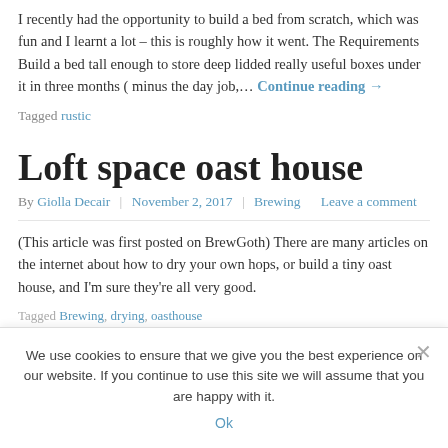I recently had the opportunity to build a bed from scratch, which was fun and I learnt a lot – this is roughly how it went. The Requirements Build a bed tall enough to store deep lidded really useful boxes under it in three months ( minus the day job,… Continue reading →
Tagged rustic
Loft space oast house
By Giolla Decair | November 2, 2017 | Brewing   Leave a comment
(This article was first posted on BrewGoth) There are many articles on the internet about how to dry your own hops, or build a tiny oast house, and I'm sure they're all very good.
Tagged Brewing, drying, oasthouse
We use cookies to ensure that we give you the best experience on our website. If you continue to use this site we will assume that you are happy with it.
Ok